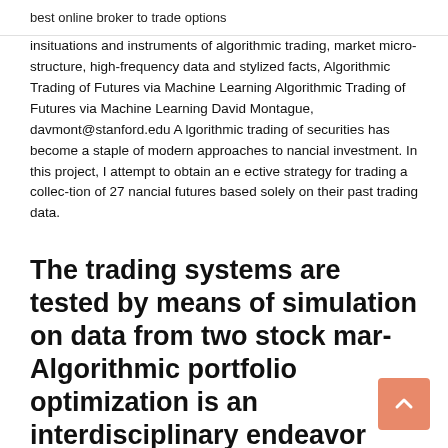best online broker to trade options
insituations and instruments of algorithmic trading, market micro-structure, high-frequency data and stylized facts, Algorithmic Trading of Futures via Machine Learning Algorithmic Trading of Futures via Machine Learning David Montague, davmont@stanford.edu A lgorithmic trading of securities has become a staple of modern approaches to nancial investment. In this project, I attempt to obtain an e ective strategy for trading a collec-tion of 27 nancial futures based solely on their past trading data.
The trading systems are tested by means of simulation on data from two stock mar- Algorithmic portfolio optimization is an interdisciplinary endeavor intersecting sistently beat the